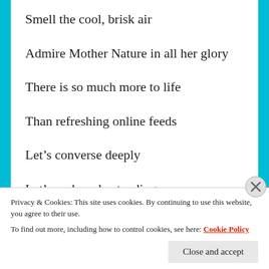Smell the cool, brisk air
Admire Mother Nature in all her glory
There is so much more to life
Than refreshing online feeds
Let’s converse deeply
Let’s seek understanding
Privacy & Cookies: This site uses cookies. By continuing to use this website, you agree to their use.
To find out more, including how to control cookies, see here: Cookie Policy
Close and accept